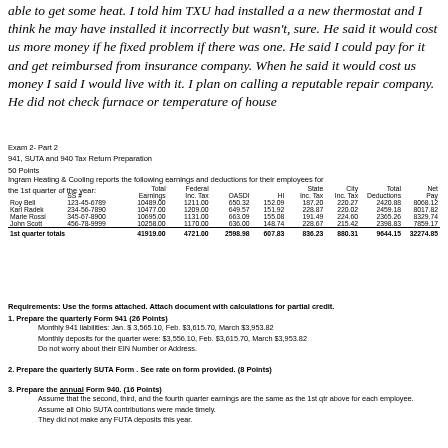able to get some heat. I told him TXU had installed a a new thermostat and I think he may have installed it incorrectly but wasn't, sure. He said it would cost us more money if he fixed problem if there was one. He said I could pay for it and get reimbursed from insurance company. When he said it would cost us money I said I would live with it. I plan on calling a reputable repair company. He did not check furnace or temperature of house
Exam 2- Part 2
941, SUTA and 940 Tax Return Preparation
50 Points
Ingram Heating & Cooling reports the following earnings and deductions for their employees for the 1st quarter of the year:
|  | SS # | Total Earnings | Federal Inc. Tax | OASDI | HI | State Inc. Tax | City Inc. Tax | Total Deductions | Net Pay |
| --- | --- | --- | --- | --- | --- | --- | --- | --- | --- |
| Roy Bell | 123-45-6789 | 10489.00 | 1211.00 | 650.32 | 152.09 | 187.20 | 220.27 | 2420.88 | 8068.12 |
| Karl Radek | 234-56-7890 | 10477.00 | 1209.00 | 649.57 | 151.92 | 228.87 | 220.02 | 2459.18 | 8017.82 |
| Marie Rossi | 345-67-8900 | 10695.00 | 1131.00 | 663.09 | 155.08 | 191.49 | 224.60 | 2365.26 | 8329.74 |
| John Scott | 456-78-9999 | 10258.00 | 1170.00 | 636.00 | 148.74 | 228.67 | 215.42 | 2398.83 | 7859.17 |
| 1st quarter totals |  | 41919.00 | 4721.00 | 2598.98 | 607.83 | 836.23 | 880.31 | 9644.15 | 32274.85 |
Requirements: Use the forms attached. Attach document with calculations for partial credit.
1. Prepare the quarterly Form 941 (26 Points)
Monthly 941 liabilities: Jan. $3,565.10, Feb. $3,615.70, March $3,953.82
Monthly deposits for the quarter were: $3,556.10, Feb. $3,615.70, March $3,953.82
Do not worry about their EIN Number or Address.
2. Prepare the quarterly SUTA Form . See rate on form provided. (8 Points)
3. Prepare the annual Form 940. (16 Points)
Assume that the second, third, and the fourth quarter earnings are the same as the 1st qtr above for each employee.
Assume all Ohio SUTA contributions were made timely.
They did not make any FUTA deposits this year.